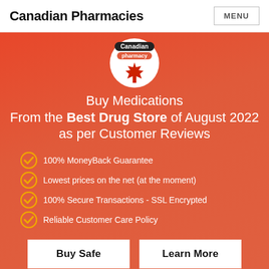Canadian Pharmacies
[Figure (illustration): Canadian pharmacy logo with a maple leaf inside a white circle, with 'Canadian' in a dark pill badge and 'pharmacy' in a red rounded label, set against a red-orange gradient background with medication imagery]
Buy Medications From the Best Drug Store of August 2022 as per Customer Reviews
100% MoneyBack Guarantee
Lowest prices on the net (at the moment)
100% Secure Transactions - SSL Encrypted
Reliable Customer Care Policy
Buy Safe
Learn More